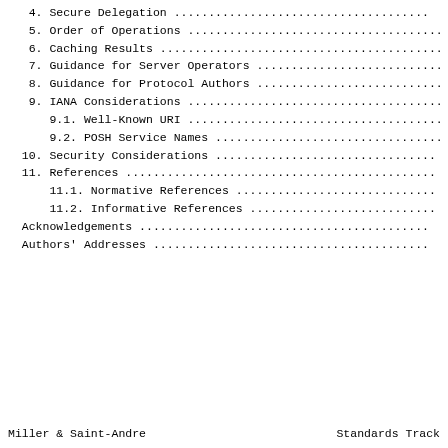4. Secure Delegation .......................................
5. Order of Operations .....................................
6. Caching Results .........................................
7. Guidance for Server Operators ...........................
8. Guidance for Protocol Authors ...........................
9. IANA Considerations .....................................
9.1. Well-Known URI .....................................
9.2. POSH Service Names .................................
10. Security Considerations ................................
11. References .............................................
11.1. Normative References .............................
11.2. Informative References ...........................
Acknowledgements ...........................................
Authors' Addresses .........................................
Miller & Saint-Andre          Standards Track